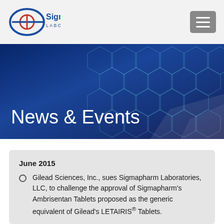[Figure (logo): SigmaPharm Laboratories logo with circular red and blue icon and text]
[Figure (illustration): Dark blue banner with hexagon pattern background showing News & Events heading]
News & Events
June 2015
Gilead Sciences, Inc., sues Sigmapharm Laboratories, LLC, to challenge the approval of Sigmapharm's Ambrisentan Tablets proposed as the generic equivalent of Gilead's LETAIRIS® Tablets.